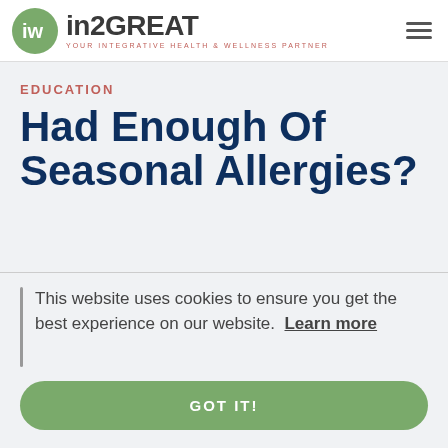[Figure (logo): in2GREAT logo with green circle containing stylized 'iw' letters and text 'in2GREAT YOUR INTEGRATIVE HEALTH & WELLNESS PARTNER']
EDUCATION
Had Enough Of Seasonal Allergies?
This website uses cookies to ensure you get the best experience on our website. Learn more
GOT IT!